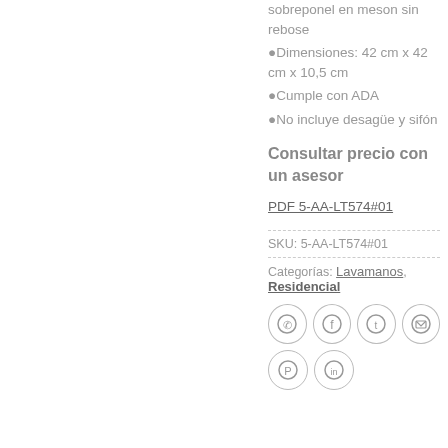sobreponel en meson sin rebose
Dimensiones: 42 cm x 42 cm x 10,5 cm
Cumple con ADA
No incluye desagüe y sifón
Consultar precio con un asesor
PDF 5-AA-LT574#01
SKU: 5-AA-LT574#01
Categorías: Lavamanos, Residencial
[Figure (infographic): Social sharing icons row 1: WhatsApp, Facebook, Twitter, Email — circular outline icons]